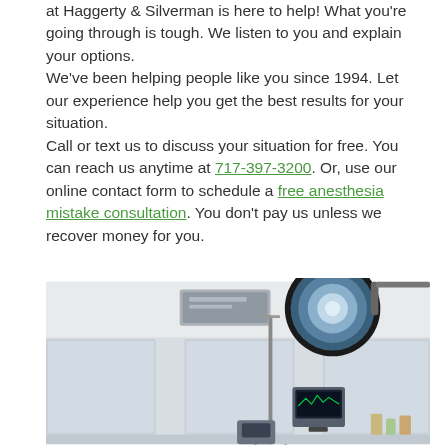at Haggerty & Silverman is here to help! What you're going through is tough. We listen to you and explain your options. We've been helping people like you since 1994. Let our experience help you get the best results for your situation. Call or text us to discuss your situation for free. You can reach us anytime at 717-397-3200. Or, use our online contact form to schedule a free anesthesia mistake consultation. You don't pay us unless we recover money for you.
[Figure (photo): Operating room or medical procedure room with surgical lamp overhead, IV stand/pole, medical monitor equipment, and frosted glass panels in background.]